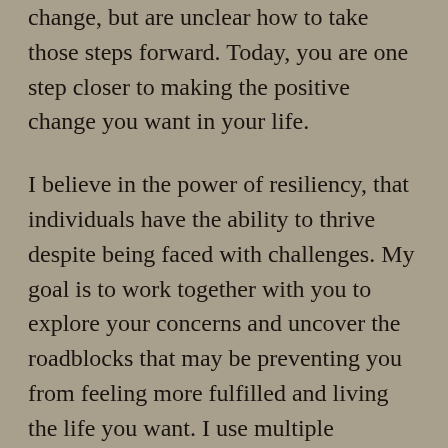change, but are unclear how to take those steps forward. Today, you are one step closer to making the positive change you want in your life.
I believe in the power of resiliency, that individuals have the ability to thrive despite being faced with challenges. My goal is to work together with you to explore your concerns and uncover the roadblocks that may be preventing you from feeling more fulfilled and living the life you want. I use multiple approaches, depending on your unique needs, to help you gain the insight and coping tools you need to move forward. I provide individual, couples and group psychotherapy and work with children,